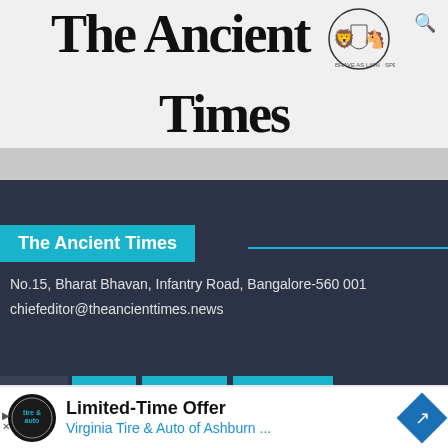The Ancient Times
The Ancient Times
No.15, Bharat Bhavan, Infantry Road, Bangalore-560 001
chiefeditor@theancienttimes.news
Download   Latest   Youtube
[Figure (screenshot): Advertisement for Virginia Tire & Auto of Ashburn with Limited-Time Offer text]
Limited-Time Offer
Virginia Tire & Auto of Ashburn ...